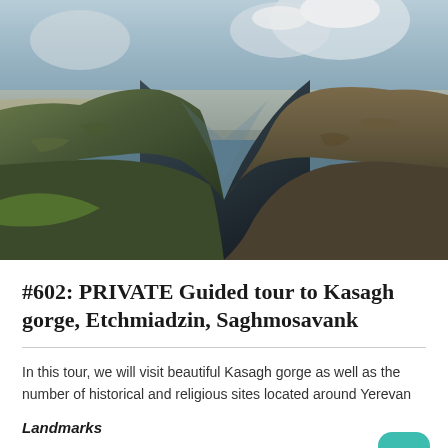[Figure (photo): Panoramic view of Kasagh gorge with dramatic rocky cliffs, deep canyon, and snow-capped mountains in the background under a hazy sky.]
#602: PRIVATE Guided tour to Kasagh gorge, Etchmiadzin, Saghmosavank
In this tour, we will visit beautiful Kasagh gorge as well as the number of historical and religious sites located around Yerevan
Landmarks
> Zvartnots